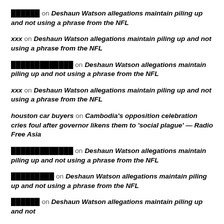▓▓▓▓▓▓ on Deshaun Watson allegations maintain piling up and not using a phrase from the NFL
xxx on Deshaun Watson allegations maintain piling up and not using a phrase from the NFL
▓▓▓▓▓▓▓▓▓▓▓▓▓ on Deshaun Watson allegations maintain piling up and not using a phrase from the NFL
xxx on Deshaun Watson allegations maintain piling up and not using a phrase from the NFL
houston car buyers on Cambodia's opposition celebration cries foul after governor likens them to 'social plague' — Radio Free Asia
▓▓▓▓▓▓▓▓▓▓▓▓▓ on Deshaun Watson allegations maintain piling up and not using a phrase from the NFL
▓▓▓▓▓▓▓▓▓ on Deshaun Watson allegations maintain piling up and not using a phrase from the NFL
▓▓▓▓▓▓ on Deshaun Watson allegations maintain piling up and not